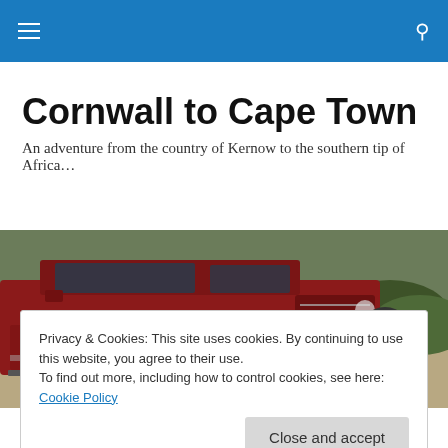Cornwall to Cape Town — navigation header bar with menu and search icons
Cornwall to Cape Town
An adventure from the country of Kernow to the southern tip of Africa…
[Figure (photo): A red Land Rover Defender parked on a dirt track with green bushes in the background]
Privacy & Cookies: This site uses cookies. By continuing to use this website, you agree to their use.
To find out more, including how to control cookies, see here: Cookie Policy
Close and accept